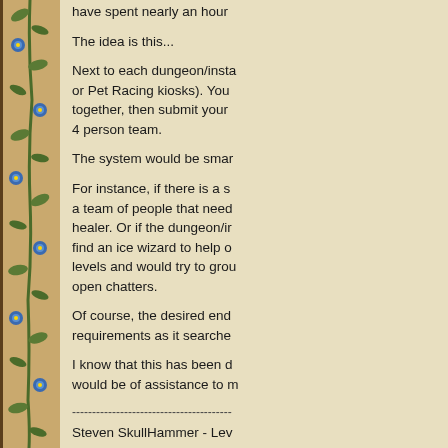have spent nearly an hour
The idea is this...
Next to each dungeon/insta or Pet Racing kiosks). You together, then submit your 4 person team.
The system would be smar
For instance, if there is a s a team of people that need healer. Or if the dungeon/i find an ice wizard to help o levels and would try to gro open chatters.
Of course, the desired end requirements as it searche
I know that this has been d would be of assistance to m
------------------------------------
Steven SkullHammer - Lev
Steven Skulli...